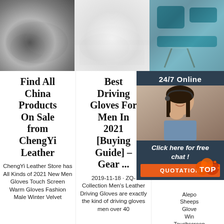[Figure (photo): Three product images at top: grey fluffy sheepskin rug, white sheepskin rug on floor, teal fur pillows on chair]
Find All China Products On Sale from ChengYi Leather
ChengYi Leather Store has All Kinds of 2021 New Men Gloves Touch Screen Warm Gloves Fashion Male Winter Velvet
Best Driving Gloves For Men In 2021 [Buying Guide] – Gear ...
2019-11-18 · ZQ-Collection Men's Leather Driving Gloves are exactly the kind of driving gloves men over 40
Ama n she g
Alepo Sheeps Glove Win Touchscreen Texting Cashmere Lined Driving Motorcycle Gloves By Alepo. 4.5 out of 5 stars3,809.
[Figure (photo): Customer service agent - woman with headset, smiling, with 24/7 Online banner, Click here for free chat, and QUOTATION button overlay]